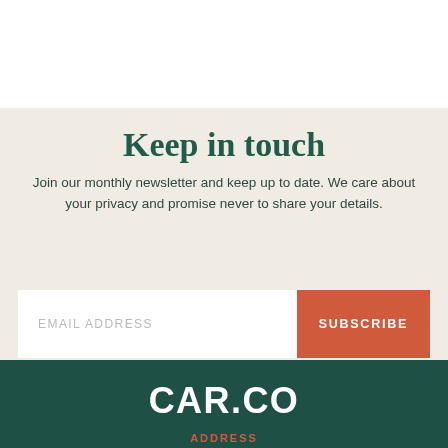[Figure (other): White card panel at top of page, partially visible]
Keep in touch
Join our monthly newsletter and keep up to date. We care about your privacy and promise never to share your details.
EMAIL ADDRESS  SUBSCRIBE
[Figure (logo): CAR.CO logo in white text on dark green background]
ADDRESS